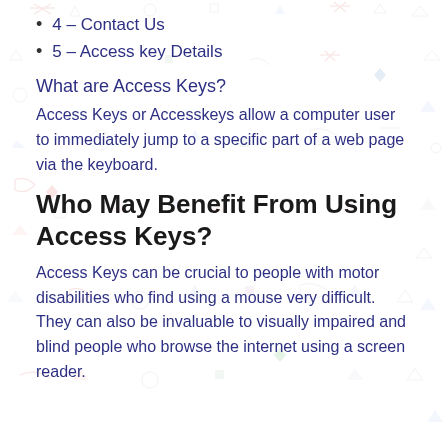4 – Contact Us
5 – Access key Details
What are Access Keys?
Access Keys or Accesskeys allow a computer user to immediately jump to a specific part of a web page via the keyboard.
Who May Benefit From Using Access Keys?
Access Keys can be crucial to people with motor disabilities who find using a mouse very difficult. They can also be invaluable to visually impaired and blind people who browse the internet using a screen reader.